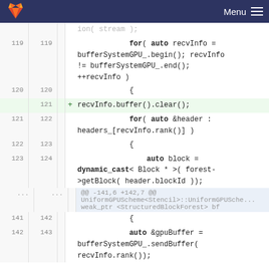GitLab logo | Menu
[Figure (screenshot): Code diff view showing C++ code with line numbers (old and new). Lines 119-123 on left, 119-124 on right. Line 121 is added (green highlight): recvInfo.buffer().clear(); Diff hunk separator: @@ -141,6 +142,7 @@ UniformGPUScheme<Stencil>::UniformGPUSche... weak_ptr <StructuredBlockForest> bf. Lines 141-142 and 142-143 shown at bottom.]